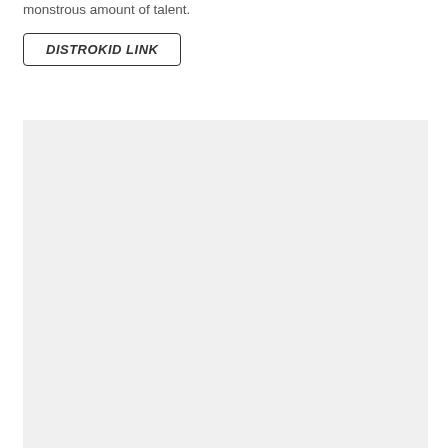monstrous amount of talent.
DISTROKID LINK
[Figure (other): Large light gray rectangular block filling the lower portion of the page]